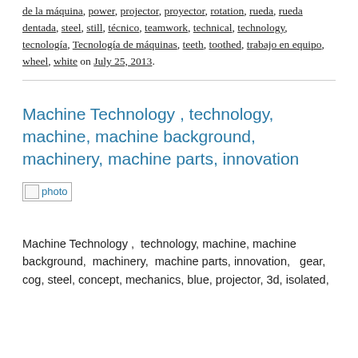de la máquina, power, projector, proyector, rotation, rueda, rueda dentada, steel, still, técnico, teamwork, technical, technology, tecnología, Tecnología de máquinas, teeth, toothed, trabajo en equipo, wheel, white on July 25, 2013.
Machine Technology , technology, machine, machine background, machinery, machine parts, innovation
[Figure (photo): A small broken image placeholder labeled 'photo' with a link]
Machine Technology ,  technology, machine, machine background, machinery, machine parts, innovation,  gear, cog, steel, concept, mechanics, blue, projector, 3d, isolated,